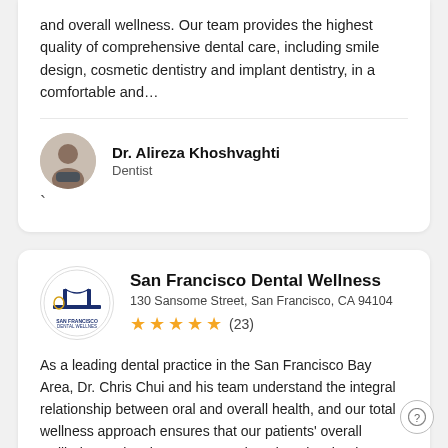and overall wellness. Our team provides the highest quality of comprehensive dental care, including smile design, cosmetic dentistry and implant dentistry, in a comfortable and...
Dr. Alireza Khoshvaghti
Dentist
San Francisco Dental Wellness
130 Sansome Street, San Francisco, CA 94104
(23) — 5 stars
As a leading dental practice in the San Francisco Bay Area, Dr. Chris Chui and his team understand the integral relationship between oral and overall health, and our total wellness approach ensures that our patients' overall wellbeing. Using the most up-to-date dental technology,